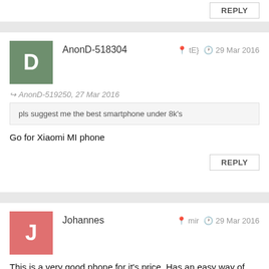REPLY (top button)
AnonD-518304   tE}   29 Mar 2016
AnonD-519250, 27 Mar 2016
pls suggest me the best smartphone under 8k's
Go for Xiaomi MI phone
REPLY (bottom button)
Johannes   mir   29 Mar 2016
This is a very good phone for it's price. Has an easy way of rooting (simply a toggle in the settings menu).
It's quick, doesn't stuck, has 2 sim cards slots.
Of course it needs some software upgrades, but they are probably